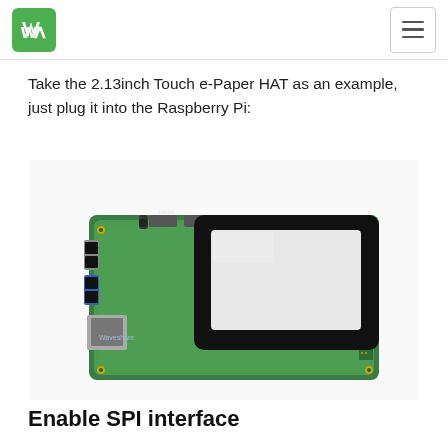Waveshare logo and navigation menu
Take the 2.13inch Touch e-Paper HAT as an example, just plug it into the Raspberry Pi:
[Figure (photo): A Raspberry Pi single-board computer with a 2.13-inch Touch e-Paper HAT attached to its GPIO pins, showing the e-paper display module with a black bezel mounted on top of the green Raspberry Pi board with visible USB ports, HDMI port, and Ethernet connector.]
Enable SPI interface